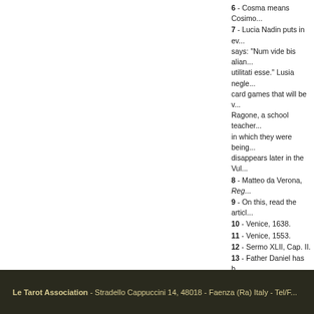6 - Cosma means Cosimo...
7 - Lucia Nadin puts in ev... says: "Num vide bis alian... utilitati esse." Lusia negle... card games that will be v... Ragone, a school teacher... in which they were being... disappears later in the Vul...
8 - Matteo da Verona, Reg...
9  - On this, read the articl...
10 - Venice, 1638.
11 - Venice, 1553.
12 - Sermo XLII, Cap. II.
13 - Father Daniel has b... brought his thesis in the a... 1720. About the hypothesi...
14 - Quote from Cesare C...
Copyright  by Andrea Vi...
Le Tarot Association - Stradello Cappuccini 14, 48018 - Faenza (Ra) Italy - Tel/F...